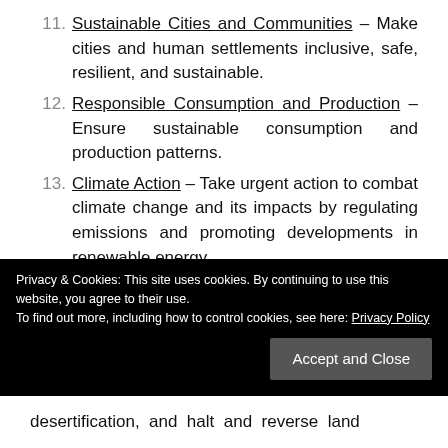11. Sustainable Cities and Communities – Make cities and human settlements inclusive, safe, resilient, and sustainable.
12. Responsible Consumption and Production – Ensure sustainable consumption and production patterns.
13. Climate Action – Take urgent action to combat climate change and its impacts by regulating emissions and promoting developments in renewable energy.
14. Life Below Water – Conserve and sustainably use
Privacy & Cookies: This site uses cookies. By continuing to use this website, you agree to their use.
To find out more, including how to control cookies, see here: Privacy Policy
desertification, and halt and reverse land